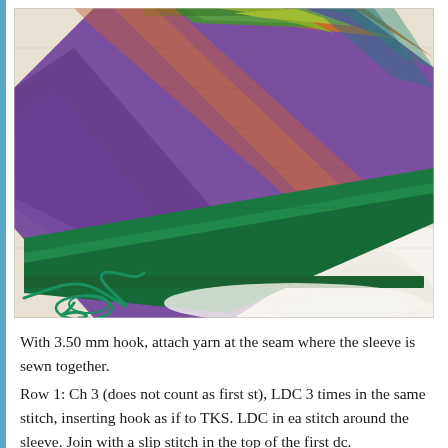[Figure (photo): Close-up photograph of a knitted item (sleeve or garment piece) showing multicolored yarn in shades of purple, orange, green, teal, and yellow arranged in a triangular/diagonal pattern, with a teal/green border edging at the bottom. A teal yarn tail is visible on the lower left. The item rests on a white fluffy surface.]
With 3.50 mm hook, attach yarn at the seam where the sleeve is sewn together.
Row 1: Ch 3 (does not count as first st), LDC 3 times in the same stitch, inserting hook as if to TKS. LDC in ea stitch around the sleeve. Join with a slip stitch in the top of the first dc.